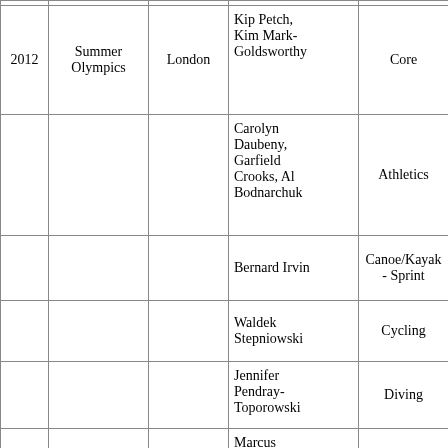| Year | Event | Location | Person | Sport |
| --- | --- | --- | --- | --- |
| 2012 | Summer Olympics | London | Kip Petch, Kim Mark-Goldsworthy | Core |
|  |  |  | Carolyn Daubeny, Garfield Crooks, Al Bodnarchuk | Athletics |
|  |  |  | Bernard Irvin | Canoe/Kayak - Sprint |
|  |  |  | Waldek Stepniowski | Cycling |
|  |  |  | Jennifer Pendray-Toporowski | Diving |
|  |  |  | Marcus Blumensaat | Rowing |
|  |  |  | Eugene Liang, | Swimming |